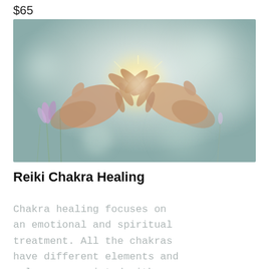$65
[Figure (photo): Two hands reaching toward each other with fingers touching, backlit by sunlight, with blurred flowers and soft bokeh background in muted blue-green tones.]
Reiki Chakra Healing
Chakra healing focuses on an emotional and spiritual treatment. All the chakras have different elements and colours associated with them. Using Reiki, energy amplifies the chakras, rebalancing and helping to release any blockages in our systems for a